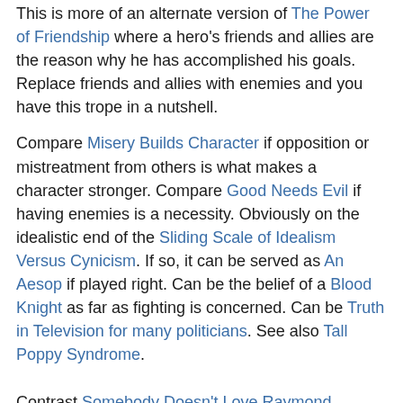This is more of an alternate version of The Power of Friendship where a hero's friends and allies are the reason why he has accomplished his goals. Replace friends and allies with enemies and you have this trope in a nutshell.
Compare Misery Builds Character if opposition or mistreatment from others is what makes a character stronger. Compare Good Needs Evil if having enemies is a necessity. Obviously on the idealistic end of the Sliding Scale of Idealism Versus Cynicism. If so, it can be served as An Aesop if played right. Can be the belief of a Blood Knight as far as fighting is concerned. Can be Truth in Television for many politicians. See also Tall Poppy Syndrome. Contrast Somebody Doesn't Love Raymond.
Examples:
open/close all folders